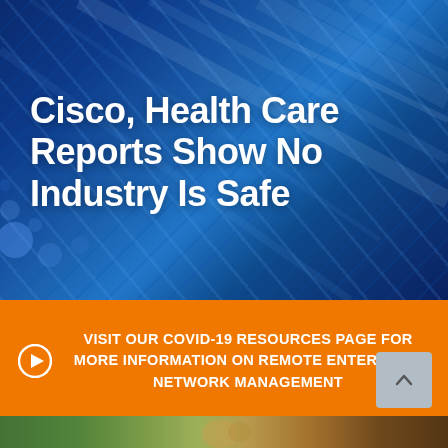[Figure (photo): Abstract blue fiber optic cables background with diagonal streaks of light and bokeh circles, serving as hero image backdrop]
Cisco, Health Care Reports Show No Industry Is Safe
VISIT OUR COVID-19 RESOURCES PAGE FOR MORE INFORMATION ON REMOTE ENTERPRISE NETWORK MANAGEMENT
[Figure (photo): Partial bottom strip showing a natural or outdoor scene]